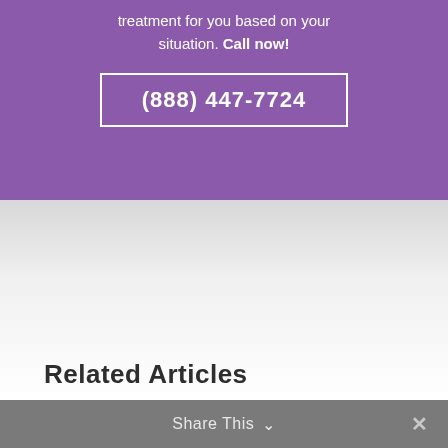treatment for you based on your situation. Call now!
(888) 447-7724
Related Articles
Share This ∨  ✕